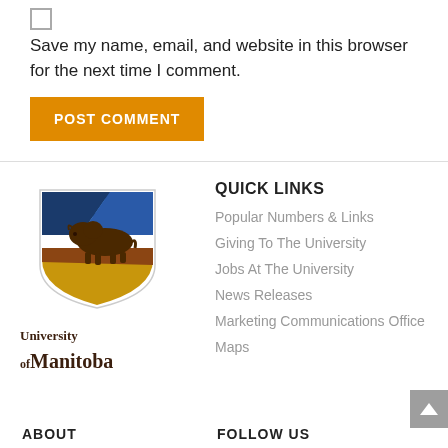Save my name, email, and website in this browser for the next time I comment.
POST COMMENT
[Figure (logo): University of Manitoba logo with bison and shield crest, blue and gold colors, with text University of Manitoba]
QUICK LINKS
Popular Numbers & Links
Giving To The University
Jobs At The University
News Releases
Marketing Communications Office
Maps
ABOUT
FOLLOW US